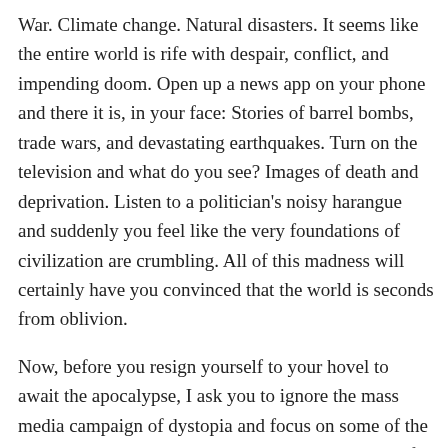War. Climate change. Natural disasters. It seems like the entire world is rife with despair, conflict, and impending doom. Open up a news app on your phone and there it is, in your face: Stories of barrel bombs, trade wars, and devastating earthquakes. Turn on the television and what do you see? Images of death and deprivation. Listen to a politician's noisy harangue and suddenly you feel like the very foundations of civilization are crumbling. All of this madness will certainly have you convinced that the world is seconds from oblivion.
Now, before you resign yourself to your hovel to await the apocalypse, I ask you to ignore the mass media campaign of dystopia and focus on some of the unparalleled, seemingly impossible achievements of the international community over the past few years. Yes, President Donald Trump is trying to undo many achievements one by one, especially those which are